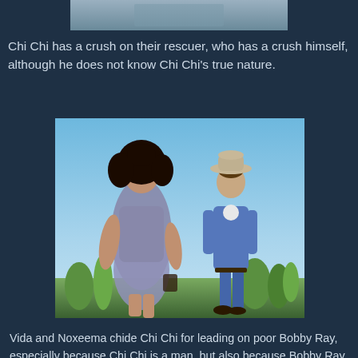[Figure (photo): Partial top of a photo, cropped at the top of the page]
Chi Chi has a crush on their rescuer, who has a crush himself, although he does not know Chi Chi's true nature.
[Figure (photo): A woman with curly dark hair wearing a floral dress and a man wearing a cowboy hat and blue denim outfit standing outdoors against a blue sky background]
Vida and Noxeema chide Chi Chi for leading on poor Bobby Ray, especially because Chi Chi is a man, but also because Bobby Ray has a lovelorn admirer there in Snydersville himself, Bobbie Lee (Jennifer Millmoe).  All's well that ends well, in this story though because Chi Chi relents and lets Bobby Lee have her beau.  When Sherriff Dollard, who was